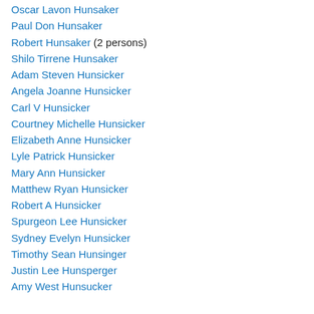Oscar Lavon Hunsaker
Paul Don Hunsaker
Robert Hunsaker (2 persons)
Shilo Tirrene Hunsaker
Adam Steven Hunsicker
Angela Joanne Hunsicker
Carl V Hunsicker
Courtney Michelle Hunsicker
Elizabeth Anne Hunsicker
Lyle Patrick Hunsicker
Mary Ann Hunsicker
Matthew Ryan Hunsicker
Robert A Hunsicker
Spurgeon Lee Hunsicker
Sydney Evelyn Hunsicker
Timothy Sean Hunsinger
Justin Lee Hunsperger
Amy West Hunsucker